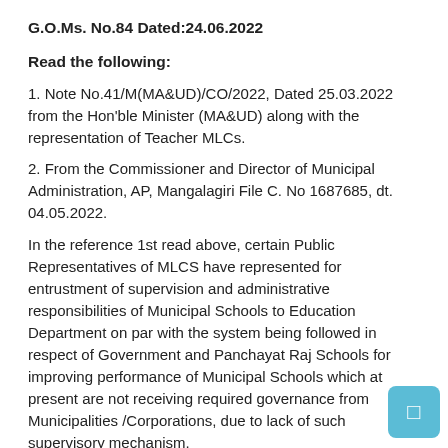G.O.Ms. No.84 Dated:24.06.2022
Read the following:
1. Note No.41/M(MA&UD)/CO/2022, Dated 25.03.2022 from the Hon'ble Minister (MA&UD) along with the representation of Teacher MLCs.
2. From the Commissioner and Director of Municipal Administration, AP, Mangalagiri File C. No 1687685, dt. 04.05.2022.
In the reference 1st read above, certain Public Representatives of MLCS have represented for entrustment of supervision and administrative responsibilities of Municipal Schools to Education Department on par with the system being followed in respect of Government and Panchayat Raj Schools for improving performance of Municipal Schools which at present are not receiving required governance from Municipalities /Corporations, due to lack of such supervisory mechanism.